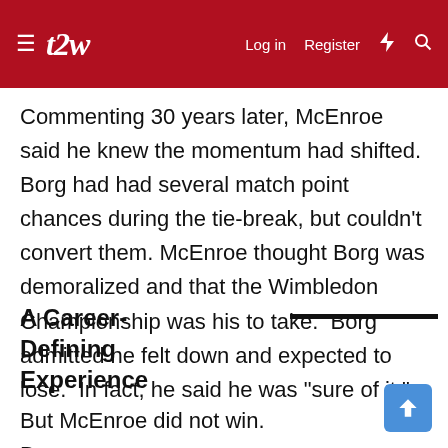t2w — Log in  Register
Commenting 30 years later, McEnroe said he knew the momentum had shifted.  Borg had had several match point chances during the tie-break, but couldn't convert them.  McEnroe thought Borg was demoralized and that the Wimbledon Championship was his to take.  Borg admitted he felt down and expected to lose.  In fact, he said he was "sure of it."
A Career-Defining Experience
But McEnroe did not win.  Borg